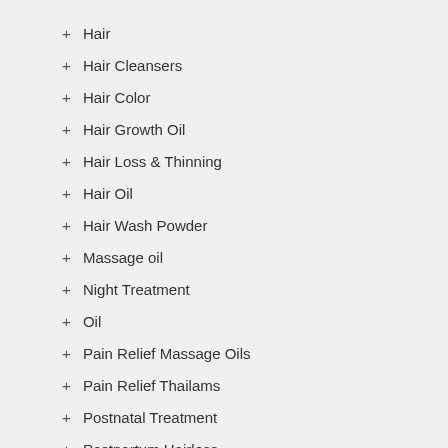+ Hair
+ Hair Cleansers
+ Hair Color
+ Hair Growth Oil
+ Hair Loss & Thinning
+ Hair Oil
+ Hair Wash Powder
+ Massage oil
+ Night Treatment
+ Oil
+ Pain Relief Massage Oils
+ Pain Relief Thailams
+ Postnatal Treatment
+ Postpartum Hairloss